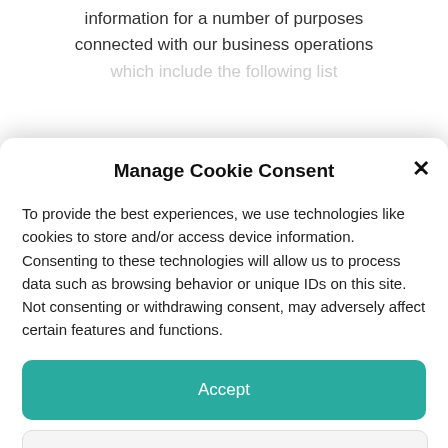information for a number of purposes connected with our business operations which include the following list
Manage Cookie Consent
To provide the best experiences, we use technologies like cookies to store and/or access device information. Consenting to these technologies will allow us to process data such as browsing behavior or unique IDs on this site. Not consenting or withdrawing consent, may adversely affect certain features and functions.
Accept
Deny
View preferences
Cookie Policy   Privacy Policy